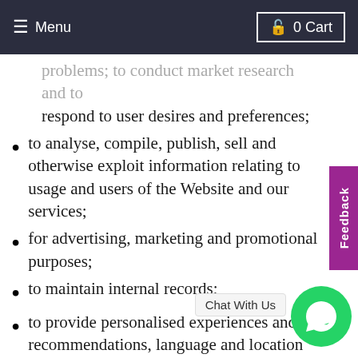≡ Menu   🔒 0 Cart
problems; to conduct market research and to respond to user desires and preferences;
to analyse, compile, publish, sell and otherwise exploit information relating to usage and users of the Website and our services;
for advertising, marketing and promotional purposes;
to maintain internal records;
to provide personalised experiences and recommendations, language and location customisation, personalised help and instructions, or other … of Website and our services;
to provide you with support and handle